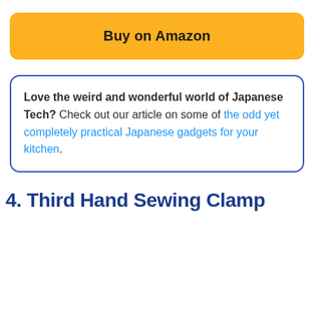[Figure (other): Orange rounded button with text 'Buy on Amazon']
Love the weird and wonderful world of Japanese Tech? Check out our article on some of the odd yet completely practical Japanese gadgets for your kitchen.
4. Third Hand Sewing Clamp